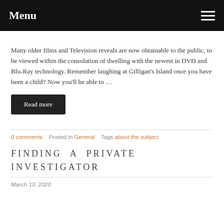Menu
Many older films and Television reveals are now obtainable to the public, to be viewed within the consolation of dwelling with the newest in DVD and Blu-Ray technology. Remember laughing at Gilligan's Island once you have been a child? Now you'll be able to …
Read more
0 comments   Posted in General   Tags about the subject
FINDING A PRIVATE INVESTIGATOR
March 13, 2020